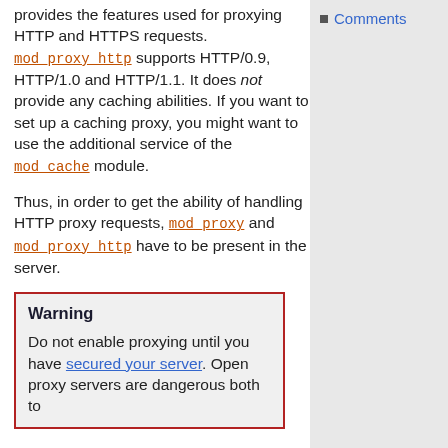provides the features used for proxying HTTP and HTTPS requests. mod_proxy_http supports HTTP/0.9, HTTP/1.0 and HTTP/1.1. It does not provide any caching abilities. If you want to set up a caching proxy, you might want to use the additional service of the mod_cache module.
Comments
Thus, in order to get the ability of handling HTTP proxy requests, mod_proxy and mod_proxy_http have to be present in the server.
Warning
Do not enable proxying until you have secured your server. Open proxy servers are dangerous both to